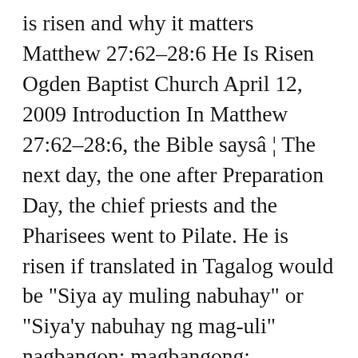is risen and why it matters Matthew 27:62-28:6 He Is Risen Ogden Baptist Church April 12, 2009 Introduction In Matthew 27:62-28:6, the Bible saysâ ¦ The next day, the one after Preparation Day, the chief priests and the Pharisees went to Pilate. He is risen if translated in Tagalog would be "Siya ay muling nabuhay" or "Siya'y nabuhay ng mag-uli" nagbangon; magbangong; magbangon; muling binuhay; nakatindig; muling nagbangon; bumangon; umangat; sumasampa; sumikat; lumitaw; Translate english tagalog. - Christ is risen from the dead Õ  Ö  ÕºÕ¶Õ¥Õ¡Õ¬ Õ§ ÕµÕ¡Õ¼ÕÖ  Õ©Õ«Ö  Õ¶Õ¶ Õ Ö  Õ«Õ½Õ¿ÕÕ½Õ« (Ornyal eh barrootyupuhn Kubreestosee) - Blessed is the